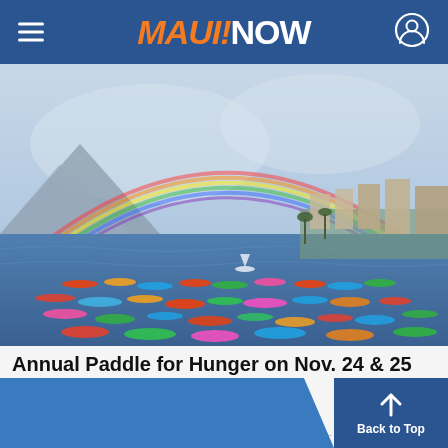MAUI NOW
[Figure (photo): Aerial view of paddlers on blue ocean water near a coastline with buildings and palm trees, under a sky with a prominent rainbow arching overhead]
Annual Paddle for Hunger on Nov. 24 & 25 to Benefit...
November 16, 2021